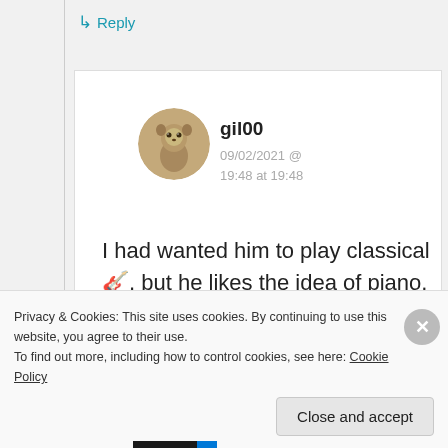↳ Reply
[Figure (photo): Circular avatar photo of a meerkat, sepia-toned]
gil00
09/02/2021 @ 19:48 at 19:48
I had wanted him to play classical 🎸, but he likes the idea of piano. Course
Privacy & Cookies: This site uses cookies. By continuing to use this website, you agree to their use.
To find out more, including how to control cookies, see here: Cookie Policy
Close and accept